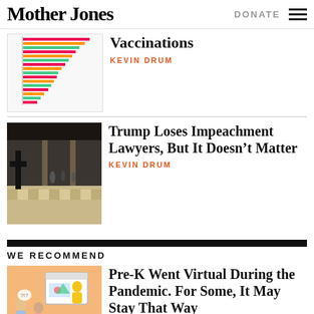Mother Jones | DONATE
[Figure (bar-chart): Horizontal bar chart related to Vaccinations]
Vaccinations
KEVIN DRUM
[Figure (photo): Interior of a large ornate building with people]
Trump Loses Impeachment Lawyers, But It Doesn’t Matter
KEVIN DRUM
WE RECOMMEND
[Figure (illustration): Illustrated scene of virtual Pre-K learning]
Pre-K Went Virtual During the Pandemic. For Some, It May Stay That Way